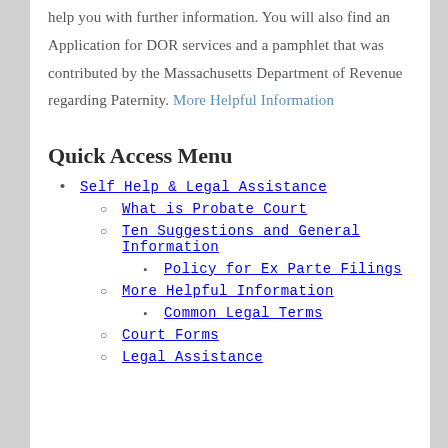help you with further information. You will also find an Application for DOR services and a pamphlet that was contributed by the Massachusetts Department of Revenue regarding Paternity. More Helpful Information
Quick Access Menu
Self Help & Legal Assistance
What is Probate Court
Ten Suggestions and General Information
Policy for Ex Parte Filings
More Helpful Information
Common Legal Terms
Court Forms
Legal Assistance